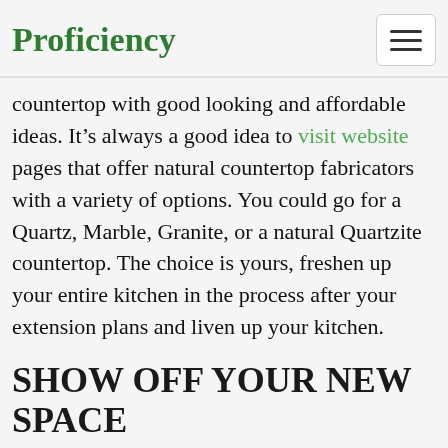Proficiency
countertop with good looking and affordable ideas. It’s always a good idea to visit website pages that offer natural countertop fabricators with a variety of options. You could go for a Quartz, Marble, Granite, or a natural Quartzite countertop. The choice is yours, freshen up your entire kitchen in the process after your extension plans and liven up your kitchen.
SHOW OFF YOUR NEW SPACE
Now that you've done your research and extension